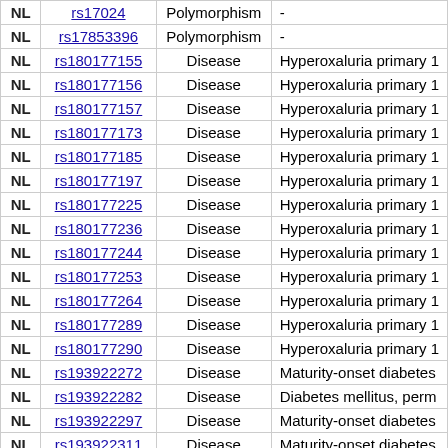|  | SNP | Type | Disease/Condition |
| --- | --- | --- | --- |
| NL | rs17024 | Polymorphism | - |
| NL | rs17853396 | Polymorphism | - |
| NL | rs180177155 | Disease | Hyperoxaluria primary 1 |
| NL | rs180177156 | Disease | Hyperoxaluria primary 1 |
| NL | rs180177157 | Disease | Hyperoxaluria primary 1 |
| NL | rs180177173 | Disease | Hyperoxaluria primary 1 |
| NL | rs180177185 | Disease | Hyperoxaluria primary 1 |
| NL | rs180177197 | Disease | Hyperoxaluria primary 1 |
| NL | rs180177225 | Disease | Hyperoxaluria primary 1 |
| NL | rs180177236 | Disease | Hyperoxaluria primary 1 |
| NL | rs180177244 | Disease | Hyperoxaluria primary 1 |
| NL | rs180177253 | Disease | Hyperoxaluria primary 1 |
| NL | rs180177264 | Disease | Hyperoxaluria primary 1 |
| NL | rs180177289 | Disease | Hyperoxaluria primary 1 |
| NL | rs180177290 | Disease | Hyperoxaluria primary 1 |
| NL | rs193922272 | Disease | Maturity-onset diabetes |
| NL | rs193922282 | Disease | Diabetes mellitus, perm |
| NL | rs193922297 | Disease | Maturity-onset diabetes |
| NL | rs193922311 | Disease | Maturity-onset diabetes |
| NL | rs1950902 | Polymorphism | - |